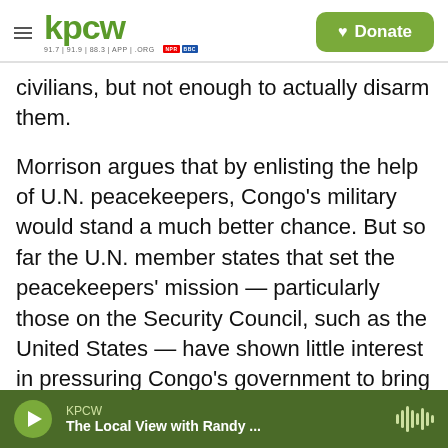KPCW — 91.7 | 91.9 | 88.3 | APP | .ORG
civilians, but not enough to actually disarm them.
Morrison argues that by enlisting the help of U.N. peacekeepers, Congo's military would stand a much better chance. But so far the U.N. member states that set the peacekeepers' mission — particularly those on the Security Council, such as the United States — have shown little interest in pressuring Congo's government to bring peacekeepers into the effort.
"We just don't have the type of high-level political leadership focused on this problem and the threat
KPCW — The Local View with Randy ...